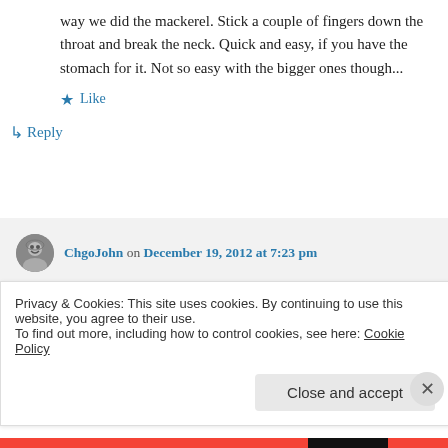way we did the mackerel. Stick a couple of fingers down the throat and break the neck. Quick and easy, if you have the stomach for it. Not so easy with the bigger ones though...
★ Like
↳ Reply
ChgoJohn on December 19, 2012 at 7:23 pm
I don't think I could kill them now by any
Privacy & Cookies: This site uses cookies. By continuing to use this website, you agree to their use.
To find out more, including how to control cookies, see here: Cookie Policy